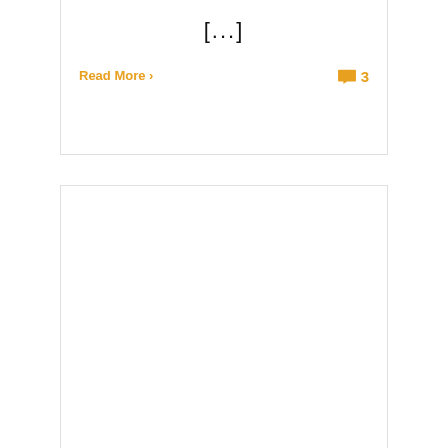[...]
Read More ›
3
[Figure (photo): A young woman with long dark hair and glasses holds a book titled 'Fundamentals of English Grammar'. She stands against a blue and red background with Khmer script text above that reads 'យល់ច្រឡំ?' (Are you confused?). The image has a cutout/collage style.]
Khmer title text (orange, partially visible at bottom)